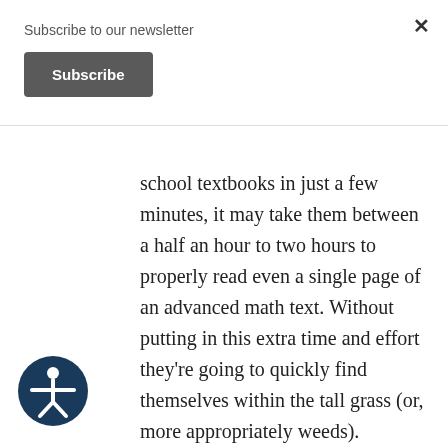Subscribe to our newsletter
Subscribe
school textbooks in just a few minutes, it may take them between a half an hour to two hours to properly read even a single page of an advanced math text. Without putting in this extra time and effort they're going to quickly find themselves within the tall grass (or, more appropriately weeds).
Another trick of advanced textbooks is that, because they don't have enough time or space within the primary text itself, authors often “hide” important concepts, definitions, and theorems within the
[Figure (illustration): Circular accessibility icon with a white figure of a person with arms extended, on a dark navy blue background.]